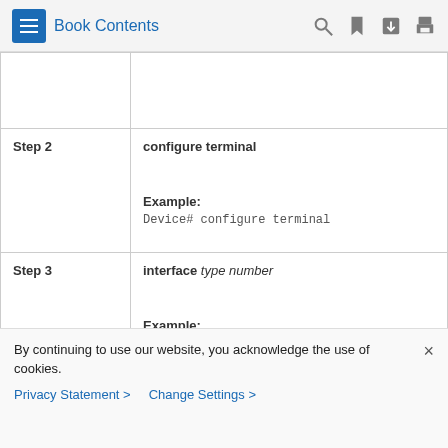Book Contents
| Step | Command/Content |
| --- | --- |
|  |  |
| Step 2 | configure terminal

Example:
Device# configure terminal |
| Step 3 | interface type number

Example:
Device(config)# interface FastEtherne |
By continuing to use our website, you acknowledge the use of cookies.
Privacy Statement > Change Settings >